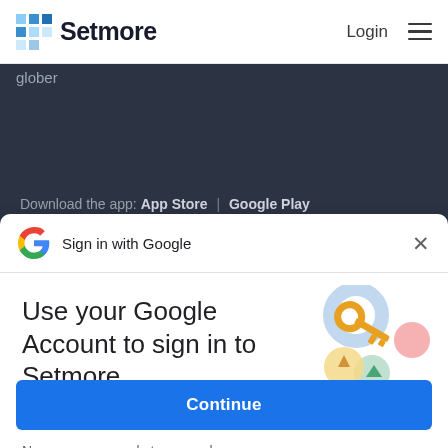Setmore   Login
glober
Download the app: App Store | Google Play
[Figure (screenshot): Google G logo next to 'Sign in with Google' text, with an X close button on the right]
Use your Google Account to sign in to Setmore Appointments
No more passwords to remember. Signing in is fast, simple and secure.
[Figure (illustration): Colorful illustration of a golden key with circular swipe/gesture icons in blue, yellow, green, and pink]
Continue